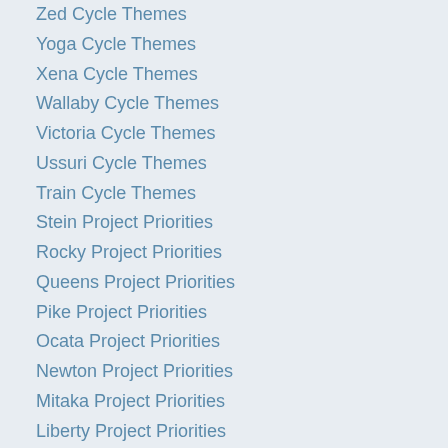Zed Cycle Themes
Yoga Cycle Themes
Xena Cycle Themes
Wallaby Cycle Themes
Victoria Cycle Themes
Ussuri Cycle Themes
Train Cycle Themes
Stein Project Priorities
Rocky Project Priorities
Queens Project Priorities
Pike Project Priorities
Ocata Project Priorities
Newton Project Priorities
Mitaka Project Priorities
Liberty Project Priorities
Kilo Project Priorities
Nova 2023.1 Antelope Specifications
Nova Zed Specifications
Nova Yoga Specifications
Nova Xena Specifications
Nova Wallaby Specifications
Nova Victoria Specifications